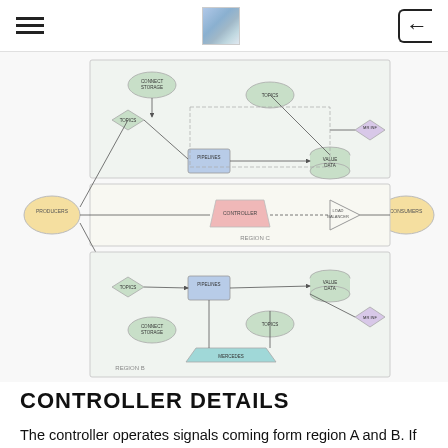Navigation header with hamburger menu, center image, and back button
[Figure (flowchart): System architecture flowchart showing PRODUCERS connected to three regions (A, B, C). Region A (top) contains CONNECT STORAGE, TOPICS, PIPELINES, VALUE DATA, TOPICS nodes with MR INF diamond. Region C (middle) has CONTROLLER and LOAD BALANCER nodes. Region B (bottom) has TOPICS, PIPELINES, VALUE DATA, MR INF, CONNECT STORAGE, TOPICS, and MERCEDES nodes. CONSUMERS node on the right.]
CONTROLLER DETAILS
The controller operates signals coming form region A and B. If signals are not equal, that